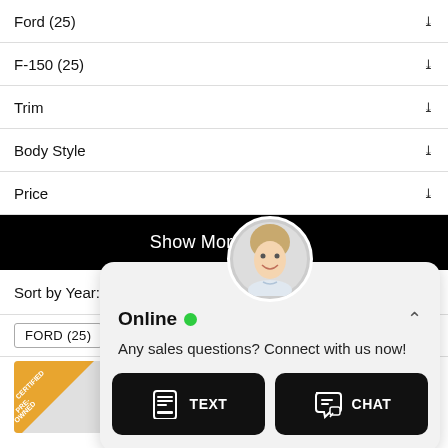Ford (25)
F-150 (25)
Trim
Body Style
Price
Show More Filters
Sort by Year: Newest to Oldest
FORD (25)
[Figure (screenshot): Partial car listing image with South 20 dealership branding and a certified pre-owned badge]
[Figure (infographic): Live chat popup overlay with agent avatar photo, Online status with green dot, TEXT and CHAT buttons. Text reads: Any sales questions? Connect with us now!]